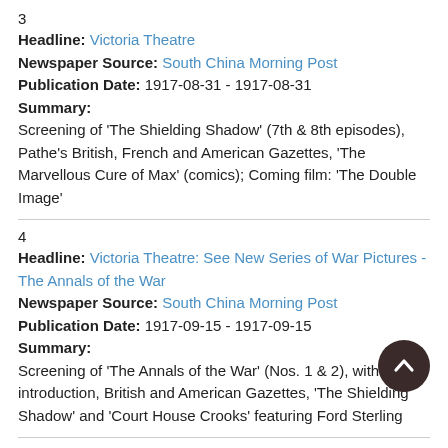3
Headline: Victoria Theatre
Newspaper Source: South China Morning Post
Publication Date: 1917-08-31 - 1917-08-31
Summary:
Screening of 'The Shielding Shadow' (7th & 8th episodes), Pathe's British, French and American Gazettes, 'The Marvellous Cure of Max' (comics); Coming film: 'The Double Image'
4
Headline: Victoria Theatre: See New Series of War Pictures - The Annals of the War
Newspaper Source: South China Morning Post
Publication Date: 1917-09-15 - 1917-09-15
Summary:
Screening of 'The Annals of the War' (Nos. 1 & 2), with introduction, British and American Gazettes, 'The Shielding Shadow' and 'Court House Crooks' featuring Ford Sterling
5